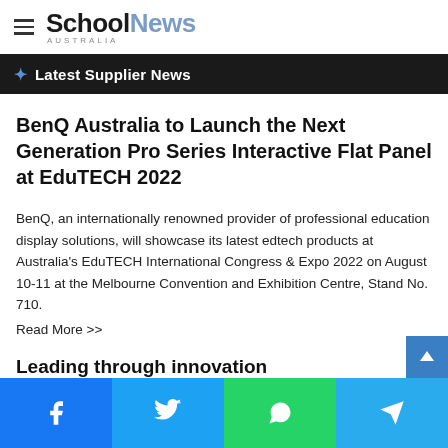SchoolNews AUSTRALIA
Latest Supplier News
BenQ Australia to Launch the Next Generation Pro Series Interactive Flat Panel at EduTECH 2022
BenQ, an internationally renowned provider of professional education display solutions, will showcase its latest edtech products at Australia's EduTECH International Congress & Expo 2022 on August 10-11 at the Melbourne Convention and Exhibition Centre, Stand No. 710.
Read More >>
Leading through innovation